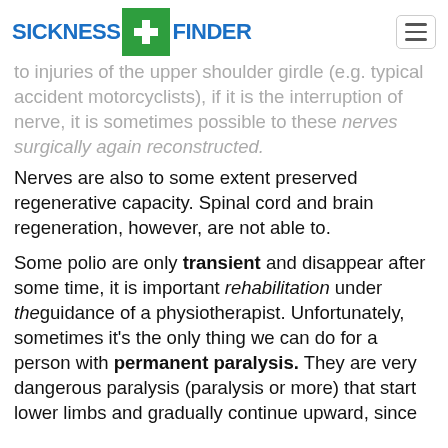SICKNESS FINDER
to injuries of the upper shoulder girdle (e.g. typical accident motorcyclists), if it is the interruption of nerve, it is sometimes possible to these nerves surgically again reconstructed.
Nerves are also to some extent preserved regenerative capacity. Spinal cord and brain regeneration, however, are not able to.
Some polio are only transient and disappear after some time, it is important rehabilitation under theguidance of a physiotherapist. Unfortunately, sometimes it's the only thing we can do for a person with permanent paralysis. They are very dangerous paralysis (paralysis or more) that start lower limbs and gradually continue upward, since